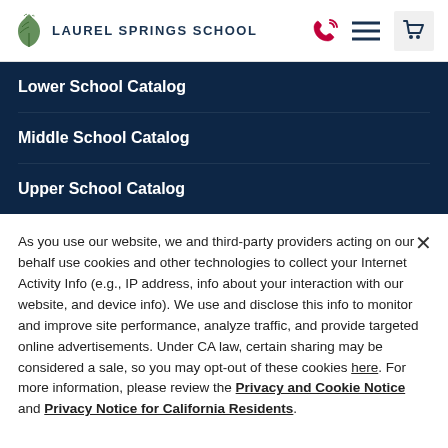Laurel Springs School
Lower School Catalog
Middle School Catalog
Upper School Catalog
As you use our website, we and third-party providers acting on our behalf use cookies and other technologies to collect your Internet Activity Info (e.g., IP address, info about your interaction with our website, and device info). We use and disclose this info to monitor and improve site performance, analyze traffic, and provide targeted online advertisements. Under CA law, certain sharing may be considered a sale, so you may opt-out of these cookies here. For more information, please review the Privacy and Cookie Notice and Privacy Notice for California Residents.